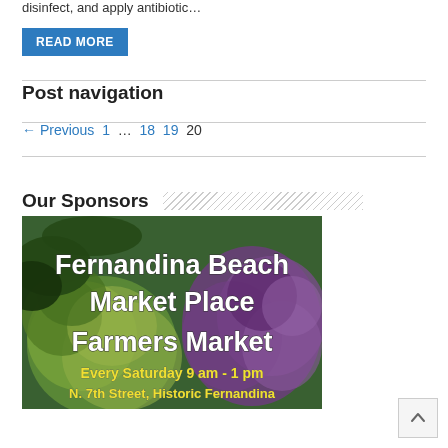disinfect, and apply antibiotic…
READ MORE
Post navigation
← Previous 1 … 18 19 20
Our Sponsors
[Figure (illustration): Fernandina Beach Market Place Farmers Market advertisement. Background shows green and purple cauliflower/broccoli. White bold text reads 'Fernandina Beach Market Place Farmers Market'. Yellow text at bottom reads 'Every Saturday 9 am - 1 pm' and 'N. 7th Street, Historic Fernandina'.]